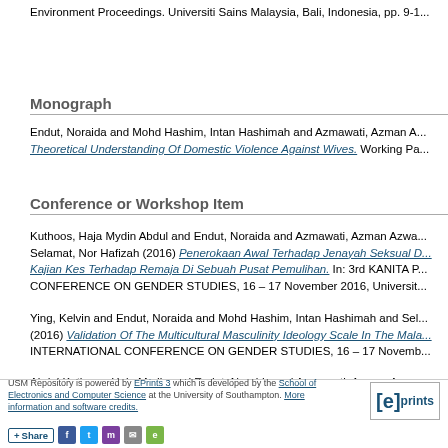Environment Proceedings. Universiti Sains Malaysia, Bali, Indonesia, pp. 9-1...
Monograph
Endut, Noraida and Mohd Hashim, Intan Hashimah and Azmawati, Azman A... Theoretical Understanding Of Domestic Violence Against Wives. Working Pa...
Conference or Workshop Item
Kuthoos, Haja Mydin Abdul and Endut, Noraida and Azmawati, Azman Azwa... Selamat, Nor Hafizah (2016) Penerokaan Awal Terhadap Jenayah Seksual D... Kajian Kes Terhadap Remaja Di Sebuah Pusat Pemulihan. In: 3rd KANITA P... CONFERENCE ON GENDER STUDIES, 16 – 17 November 2016, Universit...
Ying, Kelvin and Endut, Noraida and Mohd Hashim, Intan Hashimah and Sel... (2016) Validation Of The Multicultural Masculinity Ideology Scale In The Mala... INTERNATIONAL CONFERENCE ON GENDER STUDIES, 16 – 17 Novemb...
Abdul Kuthoos, Haja Mydin and Endut, Noraida and Azmawati, Azman Azwa... Iklan: Sebuah Tinjauan Ke Atas Sorotan Literatur. In: Second International C... Culture (ICMCC 2015), 30 Nov. - 2 Dec. 2015, Vistana Hotel, Penang.
This list w...
USM Repository is powered by EPrints 3 which is developed by the School of Electronics and Computer Science at the University of Southampton. More information and software credits.